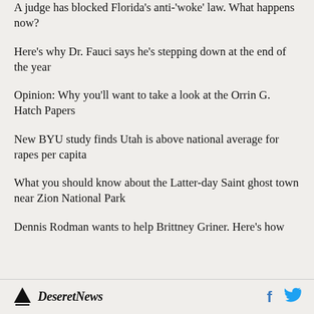A judge has blocked Florida's anti-'woke' law. What happens now?
Here's why Dr. Fauci says he's stepping down at the end of the year
Opinion: Why you'll want to take a look at the Orrin G. Hatch Papers
New BYU study finds Utah is above national average for rapes per capita
What you should know about the Latter-day Saint ghost town near Zion National Park
Dennis Rodman wants to help Brittney Griner. Here's how
Deseret News